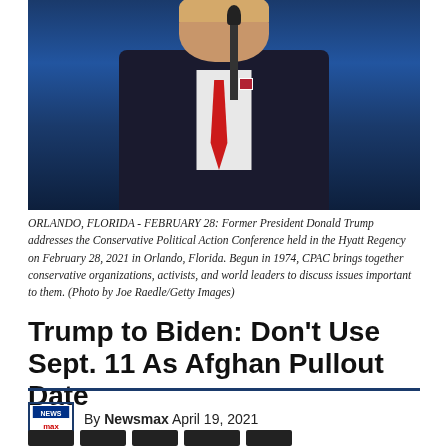[Figure (photo): Former President Donald Trump at a podium with microphone, wearing a dark suit and red tie, against a dark blue background at the Conservative Political Action Conference.]
ORLANDO, FLORIDA - FEBRUARY 28: Former President Donald Trump addresses the Conservative Political Action Conference held in the Hyatt Regency on February 28, 2021 in Orlando, Florida. Begun in 1974, CPAC brings together conservative organizations, activists, and world leaders to discuss issues important to them. (Photo by Joe Raedle/Getty Images)
Trump to Biden: Don't Use Sept. 11 As Afghan Pullout Date
By Newsmax April 19, 2021